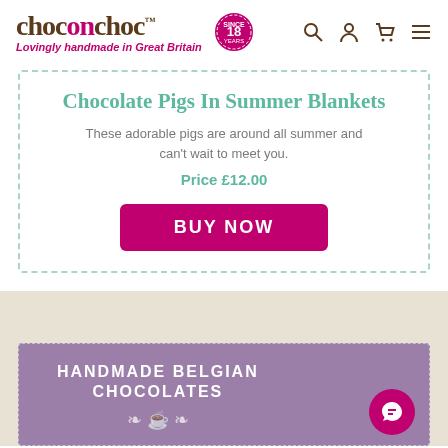choconchoc™ — Lovingly handmade in Great Britain
Chocolate Pigs In Summer Blankets
These adorable pigs are around all summer and can't wait to meet you.
Price £12.00
BUY NOW
HANDMADE BELGIAN CHOCOLATES